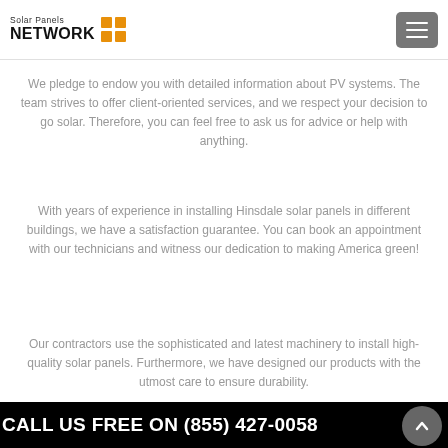Solar Panels NETWORK
We pledge to endow you with detailed information about PV systems. The team strives to offer client-oriented services, and we respect your decision to go solar. Therefore, you can feel free to ask us for advice or help with anything.
With years of experience in installing Hinsdale solar panels in different buildings, we have a satisfaction guarantee. You can book an appointment with our technicians and witness our dedication to making America green!
Our contractors use the sophisticated and latest machinery to install high-quality solar panels. Furthermore, we have designed our products with the utmost care to ensure durability.
CALL US FREE ON (855) 427-0058